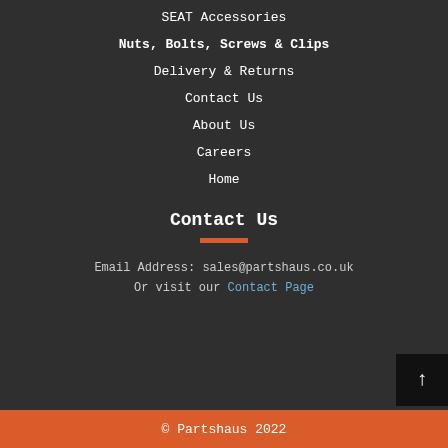SEAT Accessories
Nuts, Bolts, Screws & Clips
Delivery & Returns
Contact Us
About Us
Careers
Home
Contact Us
Email Address: sales@partshaus.co.uk
Or visit our Contact Page
© Partshaus 2022